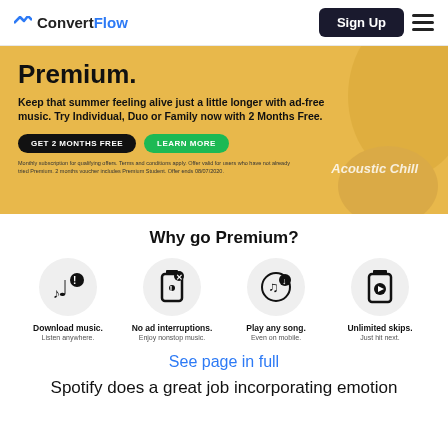ConvertFlow — Sign Up
[Figure (screenshot): Spotify Premium banner advertisement with golden/yellow background showing 'Premium.' heading, subtitle text about 2 Months Free offer, two buttons (Get 2 Months Free, Learn More), fine print, and Acoustic Chill text overlay with background imagery.]
Why go Premium?
[Figure (infographic): Four feature icons in circular grey backgrounds: Download music (music notes with download icon), No ad interruptions (phone with alert icon), Play any song (music/mobile icon), Unlimited skips (phone with play button). Each with label and subtitle below.]
See page in full
Spotify does a great job incorporating emotion